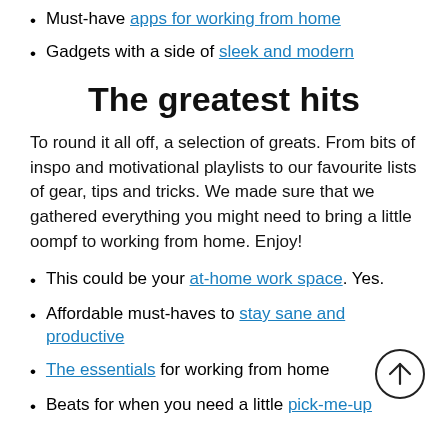Must-have apps for working from home
Gadgets with a side of sleek and modern
The greatest hits
To round it all off, a selection of greats. From bits of inspo and motivational playlists to our favourite lists of gear, tips and tricks. We made sure that we gathered everything you might need to bring a little oompf to working from home. Enjoy!
This could be your at-home work space. Yes.
Affordable must-haves to stay sane and productive
The essentials for working from home
Beats for when you need a little pick-me-up